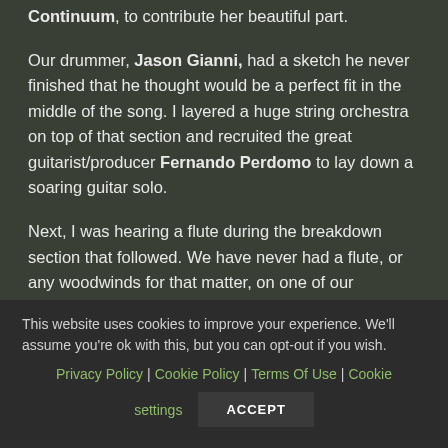Continuum, to contribute her beautiful part. Our drummer, Jason Gianni, had a sketch he never finished that he thought would be a perfect fit in the middle of the song. I layered a huge string orchestra on top of that section and recruited the great guitarist/producer Fernando Perdomo to lay down a soaring guitar solo.
Next, I was hearing a flute during the breakdown section that followed. We have never had a flute, or any woodwinds for that matter, on one of our recordings! I asked the genius multi-instrumentalist Rachel Flowers to play the flute and
This website uses cookies to improve your experience. We'll assume you're ok with this, but you can opt-out if you wish.
Privacy Policy | Cookie Policy | Terms Of Use | Cookie settings
ACCEPT